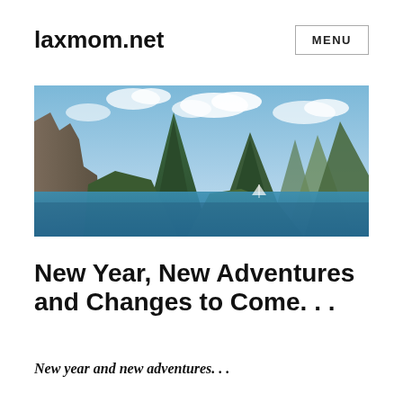laxmom.net
[Figure (photo): Panoramic photo of tropical mountains (Pitons) rising from blue Caribbean sea with cloudy sky]
New Year, New Adventures and Changes to Come. . .
New year and new adventures. . .